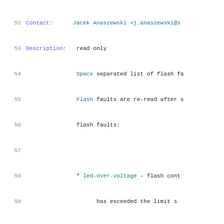52  Contact:      Jacek Anaszewski <j.anaszewski@...
53  Description:   read only
54               Space separated list of flash fa...
55               Flash faults are re-read after s...
56               flash faults:
57
58               * led-over-voltage - flash cont...
59                     has exceeded the limit s...
60               * flash-timeout-exceeded - the t...
61                     the timeout set by the d...
62                     controllers may set this...
63               * controller-over-temperature -...
64                     overheated
65               * controller-short-circuit - the...
66                     of the flash controller
67               * led-power-supply-over-current...
68                     supply has exceeded the...
69                     controller
70               * indicator-led-fault - the fla...
71                     a short or open circuit...
72               * led-under-voltage - flash con...